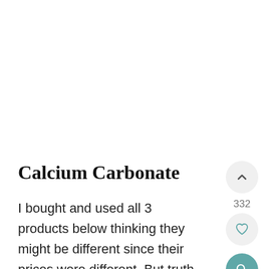Calcium Carbonate
I bought and used all 3 products below thinking they might be different since their prices were different. But truth be told, they all provided the same result and basically worked exactly the same. So you can go for any of these depending